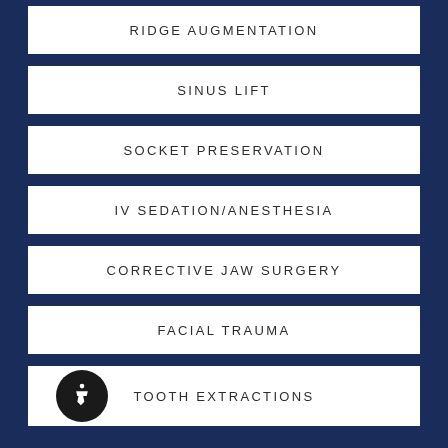RIDGE AUGMENTATION
SINUS LIFT
SOCKET PRESERVATION
IV SEDATION/ANESTHESIA
CORRECTIVE JAW SURGERY
FACIAL TRAUMA
TOOTH EXTRACTIONS